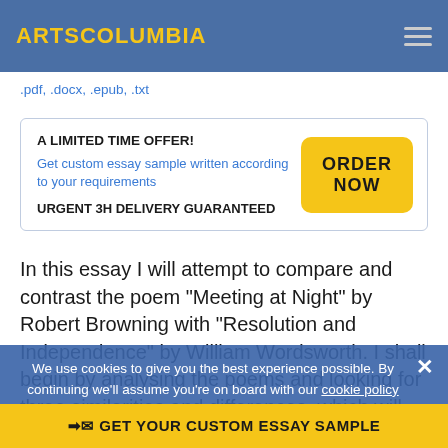ARTSCOLUMBIA
.pdf, .docx, .epub, .txt
A LIMITED TIME OFFER!
Get custom essay sample written according to your requirements
URGENT 3H DELIVERY GUARANTEED
ORDER NOW
In this essay I will attempt to compare and contrast the poem “Meeting at Night” by Robert Browning with “Resolution and Independence” by William Wordsworth. I shall begin by analysing the poems and looking for three similarities and differences, which will make me decide my final conclusion.
The simplest similarity that links these two poems is
We use cookies to give you the best experience possible. By continuing we’ll assume you’re on board with our cookie policy
➡︎✉ GET YOUR CUSTOM ESSAY SAMPLE